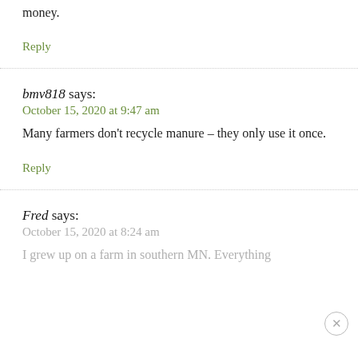money.
Reply
bmv818 says:
October 15, 2020 at 9:47 am
Many farmers don't recycle manure – they only use it once.
Reply
Fred says:
October 15, 2020 at 8:24 am
I grew up on a farm in southern MN. Everything